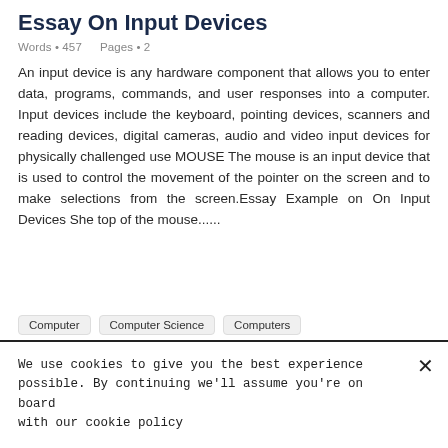Essay On Input Devices
Words • 457    Pages • 2
An input device is any hardware component that allows you to enter data, programs, commands, and user responses into a computer. Input devices include the keyboard, pointing devices, scanners and reading devices, digital cameras, audio and video input devices for physically challenged use MOUSE The mouse is an input device that is used to control the movement of the pointer on the screen and to make selections from the screen.Essay Example on On Input Devices She top of the mouse......
Computer    Computer Science    Computers
We use cookies to give you the best experience possible. By continuing we'll assume you're on board with our cookie policy